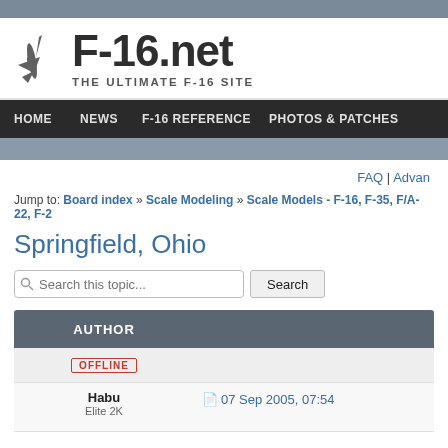F-16.net THE ULTIMATE F-16 SITE
HOME | NEWS | F-16 REFERENCE | PHOTOS & PATCHES
FAQ | Advan
Jump to: Board index » Scale Modeling » Scale Models - F-16, F-35, F/A-22, F-2
Springfield, Ohio
Search this topic... Search
| AUTHOR |  |
| --- | --- |
| OFFLINE |  |
| Habu
Elite 2K | 07 Sep 2005, 07:54 |